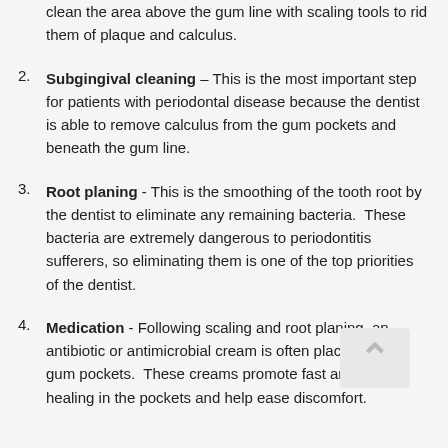clean the area above the gum line with scaling tools to rid them of plaque and calculus.
Subgingival cleaning – This is the most important step for patients with periodontal disease because the dentist is able to remove calculus from the gum pockets and beneath the gum line.
Root planing - This is the smoothing of the tooth root by the dentist to eliminate any remaining bacteria.  These bacteria are extremely dangerous to periodontitis sufferers, so eliminating them is one of the top priorities of the dentist.
Medication - Following scaling and root planing, an antibiotic or antimicrobial cream is often placed in the gum pockets.  These creams promote fast and healthy healing in the pockets and help ease discomfort.